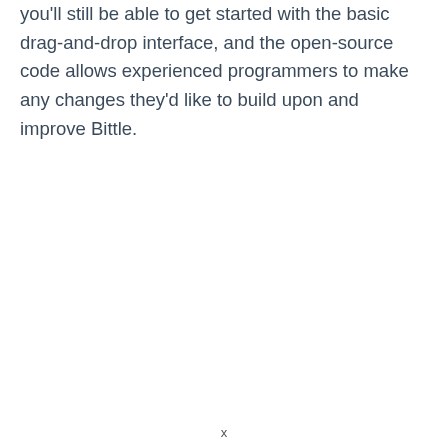you'll still be able to get started with the basic drag-and-drop interface, and the open-source code allows experienced programmers to make any changes they'd like to build upon and improve Bittle.
x